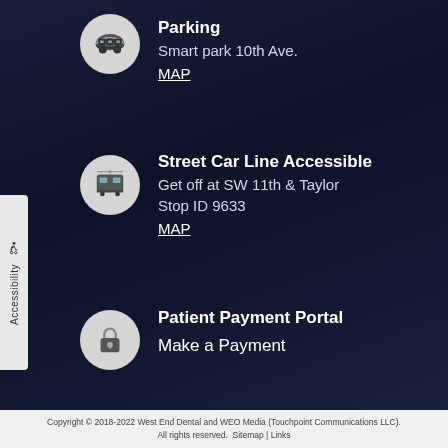Parking
Smart park 10th Ave.
MAP
Street Car Line Accessible
Get off at SW 11th & Taylor
Stop ID 9633
MAP
Patient Payment Portal
Make a Payment
Copyright © 2018-2022 West End Dental and WEO Media (Touchpoint Communications LLC). All rights reserved.  Sitemap | Links